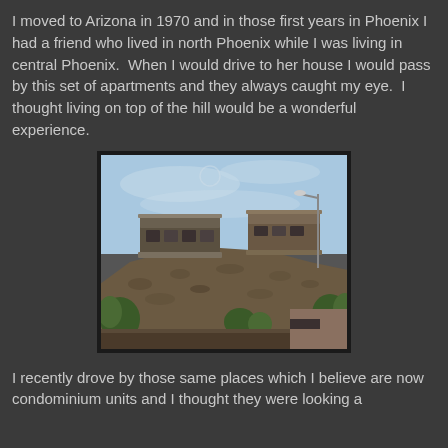I moved to Arizona in 1970 and in those first years in Phoenix I had a friend who lived in north Phoenix while I was living in central Phoenix.  When I would drive to her house I would pass by this set of apartments and they always caught my eye.  I thought living on top of the hill would be a wonderful experience.
[Figure (photo): Photo of modern apartment/condominium units built on top of a rocky hill, viewed from below. Blue sky with clouds in the background, a street lamp on the right, and green trees and shrubs at the base of the hill.]
I recently drove by those same places which I believe are now condominium units and I thought they were looking a